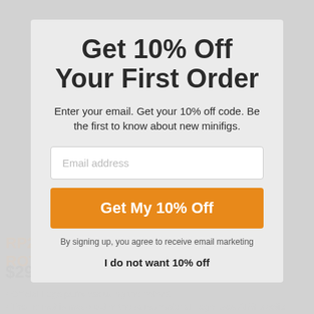Get 10% Off Your First Order
Enter your email. Get your 10% off code. Be the first to know about new minifigs.
Email address
Get My 10% Off
By signing up, you agree to receive email marketing
I do not want 10% off